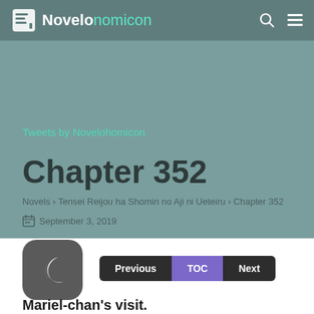Novelonomicon
Tweets by Novelohomicon
Chapter 352
Novels › Tensei Reijou ha Shomin no Aji ni Ueteiru › Chapter 352
September 3, 2019
[Figure (illustration): Dark gray rounded square icon with a crescent moon symbol]
Previous | TOC | Next
Mariel-chan's visit.